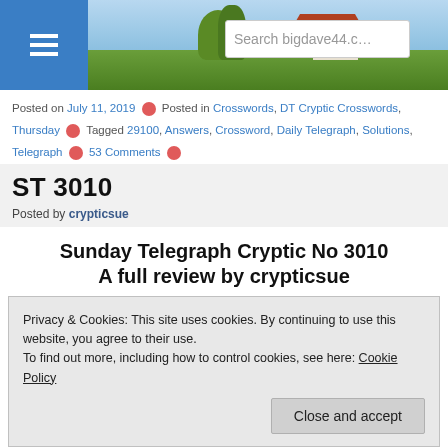[Figure (screenshot): Website header banner with menu button, landscape photo, and search bar showing 'Search bigdave44.c']
Posted on July 11, 2019 ✦ Posted in Crosswords, DT Cryptic Crosswords, Thursday ✦ Tagged 29100, Answers, Crossword, Daily Telegraph, Solutions, Telegraph ✦ 53 Comments ✦
ST 3010
Posted by crypticsue
Sunday Telegraph Cryptic No 3010
A full review by crypticsue
Privacy & Cookies: This site uses cookies. By continuing to use this website, you agree to their use.
To find out more, including how to control cookies, see here: Cookie Policy
Close and accept
A typical Dada Sunday offering